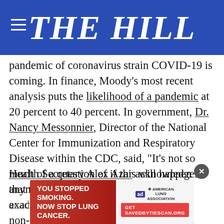THE HILL
pandemic of coronavirus strain COVID-19 is coming. In finance, Moody's most recent analysis puts the likelihood of a pandemic at 20 percent to 40 percent. In government, Dr. Nancy Messonnier, Director of the National Center for Immunization and Respiratory Disease within the CDC, said, “It’s not so much of a question of if this will happen anymore but rather more of a question of exactly when.”
Health Secretary Alex Azar acknowledges that this is a public health emergency. In academia, non-g[overnment] epidemiologist Dr. Mark Lipstich have stated
[Figure (screenshot): Advertisement overlay: red background with text 'YOU STOPPED SMOKING. NOW STOP LUNG CANCER.' and American Lung Association branding with 'Get SAVEDBYTIESCAN.ORG' CTA button. Close button (X) partially overlapping.]